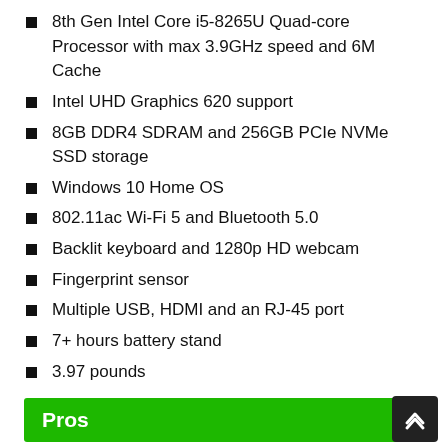8th Gen Intel Core i5-8265U Quad-core Processor with max 3.9GHz speed and 6M Cache
Intel UHD Graphics 620 support
8GB DDR4 SDRAM and 256GB PCIe NVMe SSD storage
Windows 10 Home OS
802.11ac Wi-Fi 5 and Bluetooth 5.0
Backlit keyboard and 1280p HD webcam
Fingerprint sensor
Multiple USB, HDMI and an RJ-45 port
7+ hours battery stand
3.97 pounds
Pros
Smooth and uncluttered display
Great processor and memory etc.